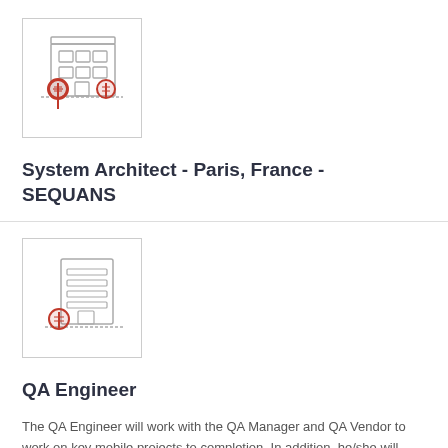[Figure (illustration): Icon of a building/office with two red tree/pin icons at base, inside a light border box]
System Architect - Paris, France - SEQUANS
[Figure (illustration): Icon of a document/server stack with one red tree/pin icon at base, inside a light border box]
QA Engineer
The QA Engineer will work with the QA Manager and QA Vendor to work on key mobile projects to completion. In addition, he/she will help maintain and create/recommend new processes and tools to